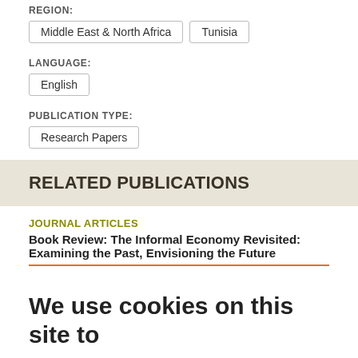REGION:
Middle East & North Africa
Tunisia
LANGUAGE:
English
PUBLICATION TYPE:
Research Papers
RELATED PUBLICATIONS
JOURNAL ARTICLES
Book Review: The Informal Economy Revisited: Examining the Past, Envisioning the Future
We use cookies on this site to